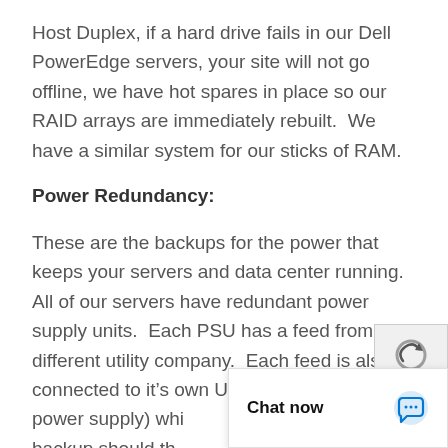Host Duplex, if a hard drive fails in our Dell PowerEdge servers, your site will not go offline, we have hot spares in place so our RAID arrays are immediately rebuilt.  We have a similar system for our sticks of RAM.
Power Redundancy:
These are the backups for the power that keeps your servers and data center running.  All of our servers have redundant power supply units.  Each PSU has a feed from a different utility company.  Each feed is also connected to it’s own UPS (uninterrupted power supply) wh… backup should th…